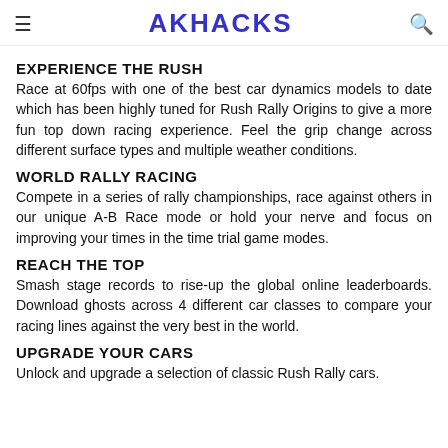AKHACKS
EXPERIENCE THE RUSH
Race at 60fps with one of the best car dynamics models to date which has been highly tuned for Rush Rally Origins to give a more fun top down racing experience. Feel the grip change across different surface types and multiple weather conditions.
WORLD RALLY RACING
Compete in a series of rally championships, race against others in our unique A-B Race mode or hold your nerve and focus on improving your times in the time trial game modes.
REACH THE TOP
Smash stage records to rise-up the global online leaderboards. Download ghosts across 4 different car classes to compare your racing lines against the very best in the world.
UPGRADE YOUR CARS
Unlock and upgrade a selection of classic Rush Rally cars.